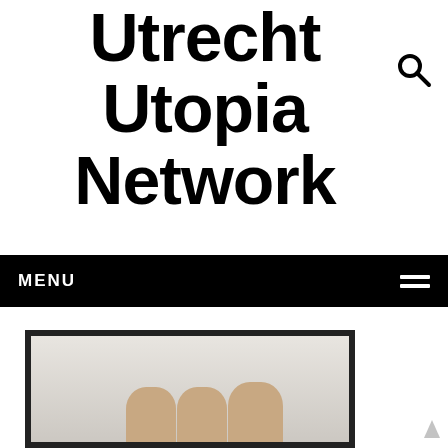Utrecht Utopia Network
[Figure (screenshot): Navigation menu bar with MENU label on the left and hamburger icon on the right, black background with white text]
[Figure (photo): Photograph of a group of people standing in front of a large framed print or canvas on a white wall; three or more individuals visible from the waist up]